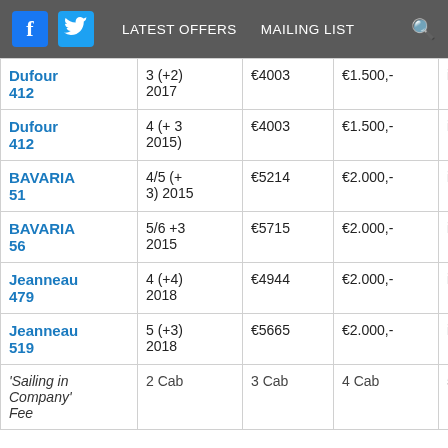f [Facebook] [Twitter] LATEST OFFERS   MAILING LIST   [search]
|  |  |  |  |  |
| --- | --- | --- | --- | --- |
| Dufour 412 | 3 (+2) 2017 | €4003 | €1.500,- | inc |
| Dufour 412 | 4 (+ 3 2015) | €4003 | €1.500,- | inc |
| BAVARIA 51 | 4/5 (+ 3) 2015 | €5214 | €2.000,- | inc |
| BAVARIA 56 | 5/6 +3 2015 | €5715 | €2.000,- | inc |
| Jeanneau 479 | 4 (+4) 2018 | €4944 | €2.000,- | inc |
| Jeanneau 519 | 5 (+3) 2018 | €5665 | €2.000,- | inc |
| 'Sailing in Company' Fee | 2 Cab | 3 Cab | 4 Cab | 5 Cab |